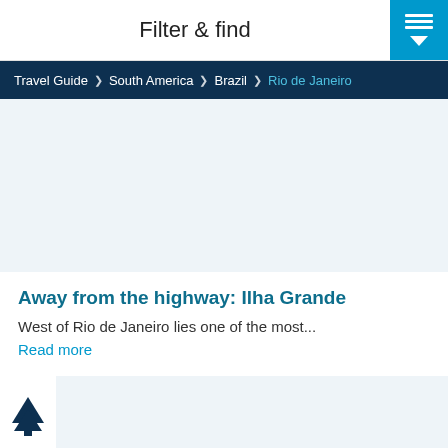Filter & find
Travel Guide > South America > Brazil > Rio de Janeiro
[Figure (photo): Large placeholder image area for article photo, light blue-grey background]
Away from the highway: Ilha Grande
West of Rio de Janeiro lies one of the most...
Read more
[Figure (illustration): Small tree/nature icon on left, followed by a placeholder image area with light blue-grey background]